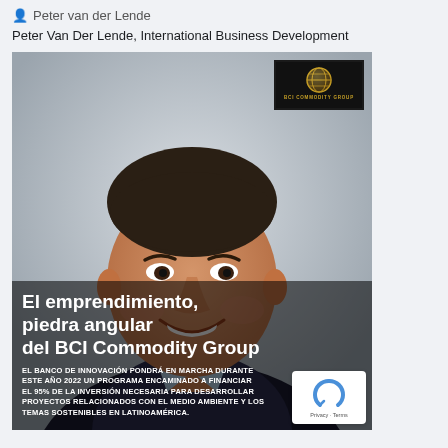Peter van der Lende
Peter Van Der Lende, International Business Development
[Figure (photo): Professional headshot of a middle-aged man in a dark suit with a blue shirt, smiling. In the top-right corner of the image is a dark logo box reading 'BCI COMMODITY GROUP' with a gold globe icon. Overlaid at the bottom is text: 'El emprendimiento, piedra angular del BCI Commodity Group' and a Spanish paragraph about the bank of innovation financing 95% of investment needed for environmental and sustainable projects in Latin America in 2022.]